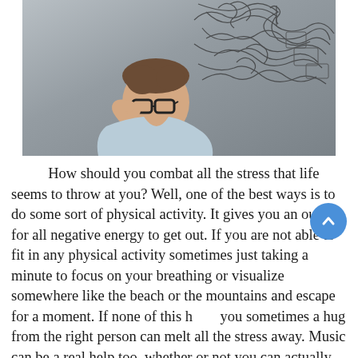[Figure (photo): A young man with glasses holding his head with one hand, looking stressed or anxious. Behind him is a chaotic tangle of drawn lines and symbols representing mental overload or stress, against a grey background.]
How should you combat all the stress that life seems to throw at you? Well, one of the best ways is to do some sort of physical activity. It gives you an outlet for all negative energy to get out. If you are not able to fit in any physical activity sometimes just taking a minute to focus on your breathing or visualize somewhere like the beach or the mountains and escape for a moment. If none of this h you sometimes a hug from the right person can melt all the stress away. Music can be a real help too, whether or not you can actually play an instrument or sing doesn't matter. Sometimes just putting in your earbuds and listening to a